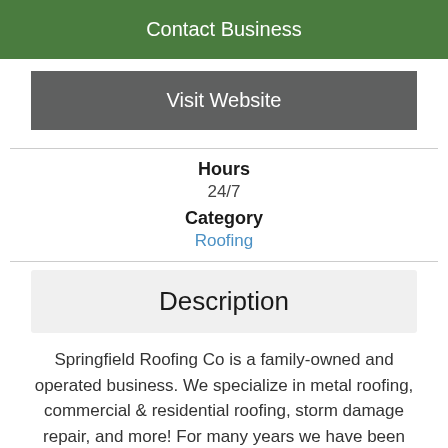Contact Business
Visit Website
Hours
24/7
Category
Roofing
Description
Springfield Roofing Co is a family-owned and operated business. We specialize in metal roofing, commercial & residential roofing, storm damage repair, and more! For many years we have been